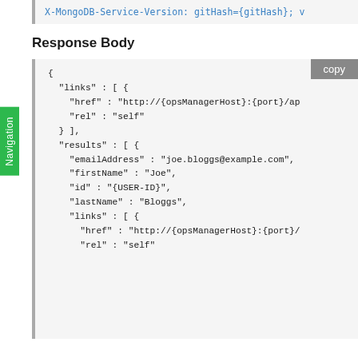X-MongoDB-Service-Version: gitHash={gitHash}; v
Response Body
{
  "links" : [ {
    "href" : "http://{opsManagerHost}:{port}/ap
    "rel" : "self"
  } ],
  "results" : [ {
    "emailAddress" : "joe.bloggs@example.com",
    "firstName" : "Joe",
    "id" : "{USER-ID}",
    "lastName" : "Bloggs",
    "links" : [ {
      "href" : "http://{opsManagerHost}:{port}/
      "rel" : "self"